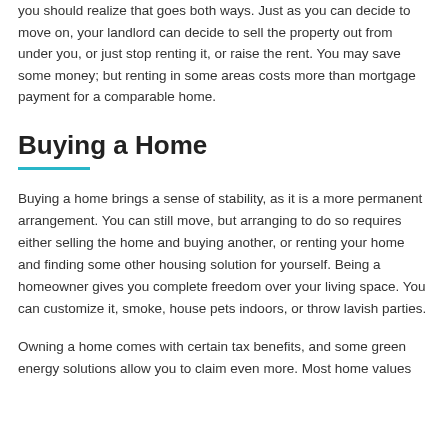you should realize that goes both ways. Just as you can decide to move on, your landlord can decide to sell the property out from under you, or just stop renting it, or raise the rent. You may save some money; but renting in some areas costs more than mortgage payment for a comparable home.
Buying a Home
Buying a home brings a sense of stability, as it is a more permanent arrangement. You can still move, but arranging to do so requires either selling the home and buying another, or renting your home and finding some other housing solution for yourself. Being a homeowner gives you complete freedom over your living space. You can customize it, smoke, house pets indoors, or throw lavish parties.
Owning a home comes with certain tax benefits, and some green energy solutions allow you to claim even more. Most home values